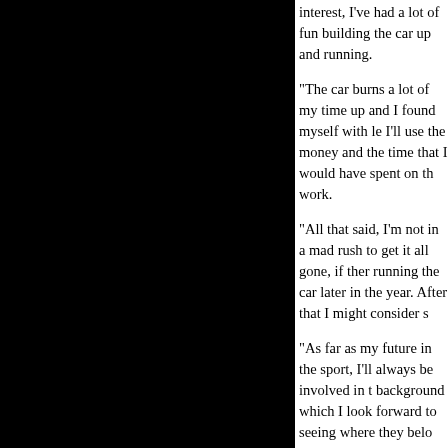interest, I've had a lot of fun building the car up and running.
"The car burns a lot of my time up and I found myself with less time. I'll use the money and the time that I would have spent on the car on work.
"All that said, I'm not in a mad rush to get it all gone, if there's running the car later in the year. After that I might consider s
"As far as my future in the sport, I'll always be involved in the background which I look forward to seeing where they belong. racing Nostlagia Funny Cars but for now I need to make sur
"I would like to say thanks to all my friends and family for the done it without them.
You can see the full spec of Firecracker for sale in our Jeff B the main menu.
[Figure (logo): Summit Racing Equipment Internationals logo]
Summ 14th J day for Intern Augus where Being Racing Fuel, T